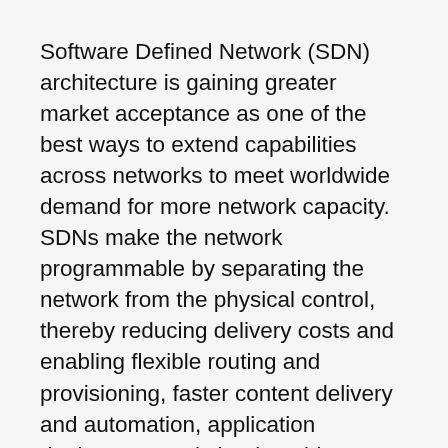Software Defined Network (SDN) architecture is gaining greater market acceptance as one of the best ways to extend capabilities across networks to meet worldwide demand for more network capacity. SDNs make the network programmable by separating the network from the physical control, thereby reducing delivery costs and enabling flexible routing and provisioning, faster content delivery and automation, application deployment and cloud enablement.
More and more, SDNs are being incorporated to extend network functionality beyond the physical layer. In a 2014 Infonetics Research survey of 153 medium and large companies, 87 percent said they were planning to go live with SDNs in the data center environment by 2016 in order to increase network capabilities to meet the demand…